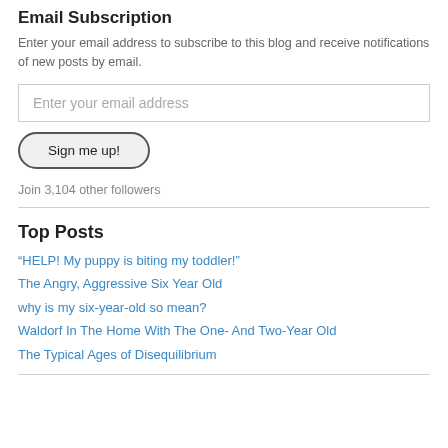Email Subscription
Enter your email address to subscribe to this blog and receive notifications of new posts by email.
Enter your email address
Sign me up!
Join 3,104 other followers
Top Posts
“HELP! My puppy is biting my toddler!”
The Angry, Aggressive Six Year Old
why is my six-year-old so mean?
Waldorf In The Home With The One- And Two-Year Old
The Typical Ages of Disequilibrium